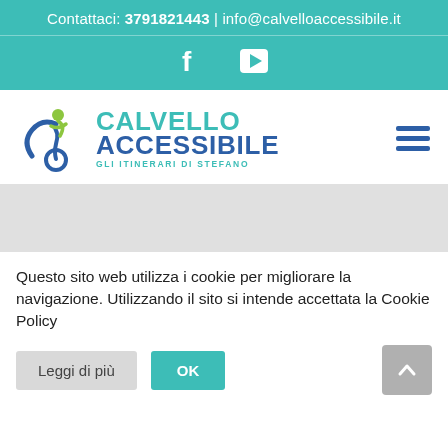Contattaci: 3791821443 | info@calvelloaccessibile.it
[Figure (logo): Social icons bar with Facebook and YouTube icons on teal background]
[Figure (logo): Calvello Accessibile - Gli Itinerari di Stefano logo with wheelchair user graphic and teal/blue text, plus hamburger menu icon]
[Figure (other): Gray banner/hero image area]
Questo sito web utilizza i cookie per migliorare la navigazione. Utilizzando il sito si intende accettata la Cookie Policy
Leggi di più  OK